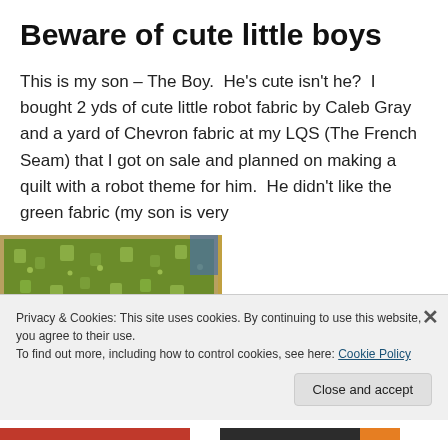Beware of cute little boys
This is my son – The Boy.  He’s cute isn’t he?  I bought 2 yds of cute little robot fabric by Caleb Gray and a yard of Chevron fabric at my LQS (The French Seam) that I got on sale and planned on making a quilt with a robot theme for him.  He didn’t like the green fabric (my son is very
[Figure (photo): Photo of green robot-themed fabric with colorful patterned fabric visible beneath]
Privacy & Cookies: This site uses cookies. By continuing to use this website, you agree to their use.
To find out more, including how to control cookies, see here: Cookie Policy